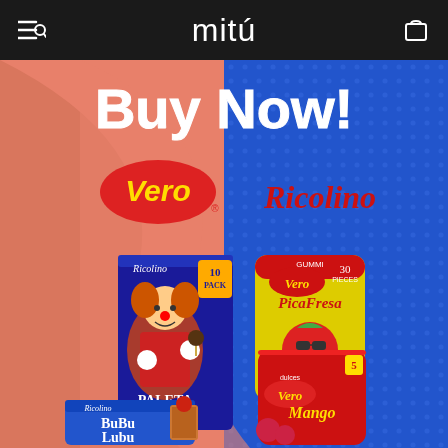mitú
[Figure (photo): Advertisement screenshot for Vero and Ricolino candy brands showing 'Buy Now!' in large white text at the top. Products shown include Ricolino Paleta Payaso 10-pack box (marshmallow chocolate lollipop), Vero PicaFresa gummi candy 30-piece bag (yellow bag), Vero Mango dulces bag (red bag), and Ricolino BuBu Lubu chocolate bar. Brands logos for Vero (red oval with yellow text) and Ricolino (red script text) displayed prominently. Background is a split salmon/peach and blue with dot pattern design.]